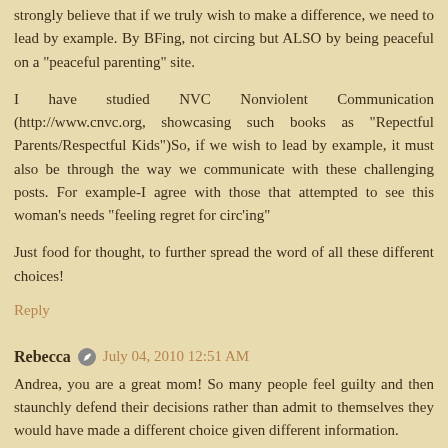strongly believe that if we truly wish to make a difference, we need to lead by example. By BFing, not circing but ALSO by being peaceful on a "peaceful parenting" site.
I have studied NVC Nonviolent Communication (http://www.cnvc.org, showcasing such books as "Repectful Parents/Respectful Kids")So, if we wish to lead by example, it must also be through the way we communicate with these challenging posts. For example-I agree with those that attempted to see this woman's needs "feeling regret for circ'ing"
Just food for thought, to further spread the word of all these different choices!
Reply
Rebecca   July 04, 2010 12:51 AM
Andrea, you are a great mom! So many people feel guilty and then staunchly defend their decisions rather than admit to themselves they would have made a different choice given different information.